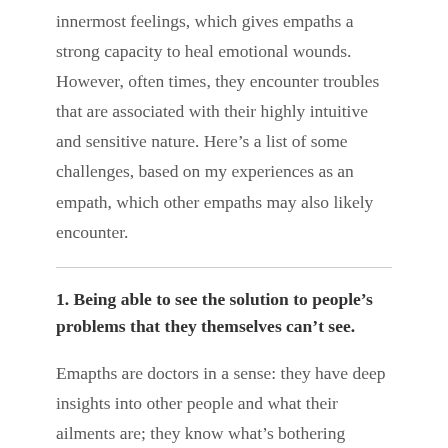innermost feelings, which gives empaths a strong capacity to heal emotional wounds. However, often times, they encounter troubles that are associated with their highly intuitive and sensitive nature. Here’s a list of some challenges, based on my experiences as an empath, which other empaths may also likely encounter.
1. Being able to see the solution to people’s problems that they themselves can’t see.
Emapths are doctors in a sense: they have deep insights into other people and what their ailments are; they know what’s bothering people at their core and they may also have the prescription to cure them. Others may be unable to see themselves through the same lens and so are un-open to accepting the empaths’ help and wisdom, which